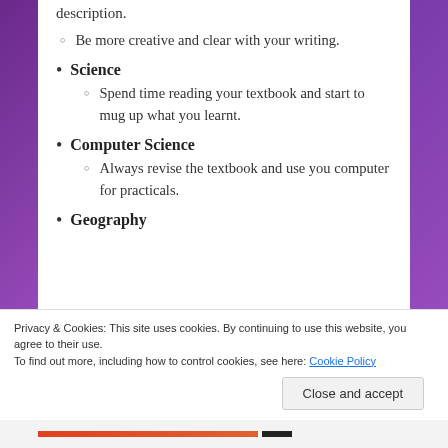description.
Be more creative and clear with your writing.
Science
Spend time reading your textbook and start to mug up what you learnt.
Computer Science
Always revise the textbook and use you computer for practicals.
Geography
Privacy & Cookies: This site uses cookies. By continuing to use this website, you agree to their use.
To find out more, including how to control cookies, see here: Cookie Policy